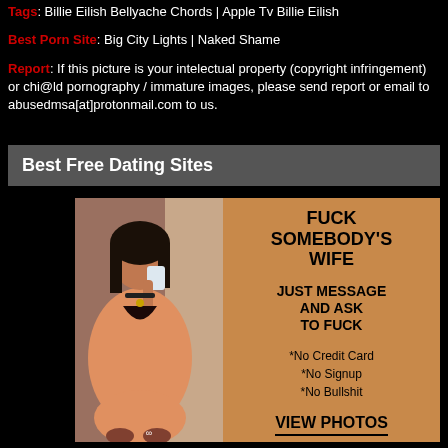Tags: Billie Eilish Bellyache Chords | Apple Tv Billie Eilish
Best Porn Site: Big City Lights | Naked Shame
Report: If this picture is your intelectual property (copyright infringement) or chi@ld pornography / immature images, please send report or email to abusedmsa[at]protonmail.com to us.
Best Free Dating Sites
[Figure (photo): Advertisement banner with photo of woman in orange outfit on left and text panel on right with brown background saying FUCK SOMEBODY'S WIFE, JUST MESSAGE AND ASK TO FUCK, *No Credit Card *No Signup *No Bullshit, VIEW PHOTOS]